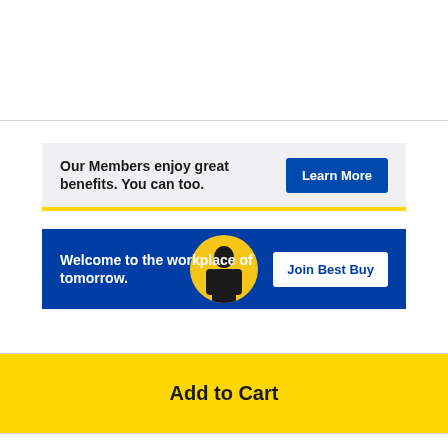[Figure (infographic): Best Buy membership banner: 'Our Members enjoy great benefits. You can too.' with a 'Learn More' blue button, light gray background with yellow bottom border.]
[Figure (infographic): Best Buy careers banner: 'Welcome to the workplace of tomorrow.' with a circular yellow illustration of a person and a 'Join Best Buy' white button on blue background.]
[Figure (infographic): Yellow 'Add to Cart' button spanning full width.]
[Figure (infographic): Quick and Easy Store Pickup icon (clock/checkmark circle) with blue text partially visible at bottom.]